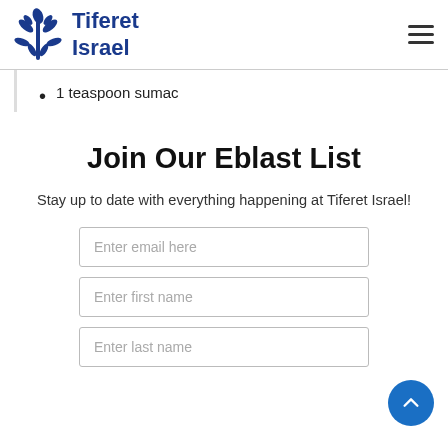Tiferet Israel
1 teaspoon sumac
Join Our Eblast List
Stay up to date with everything happening at Tiferet Israel!
Enter email here
Enter first name
Enter last name